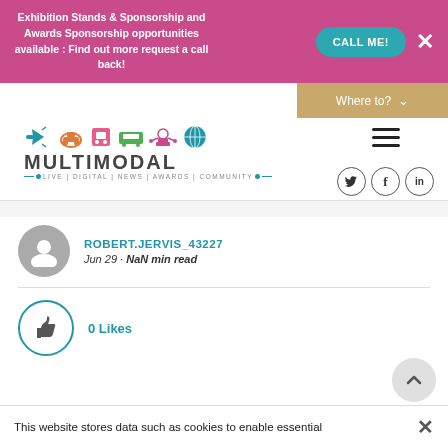Exhibition Stands & Sponsorship and Awards Sponsorship opportunities available : Find out more request a call back!
CALL ME!
[Figure (screenshot): Navigation bar with 'Where to?' dropdown button in tan/gold color]
[Figure (logo): Multimodal logo with transport icons (plane, ship, train, bus, drone, globe) above the text MULTIMODAL with tagline LIVE | DIGITAL | NEWS | AWARDS | COMMUNITY]
[Figure (screenshot): Hamburger menu icon (three horizontal lines)]
[Figure (screenshot): Social media icons: Twitter (bird), Facebook (f), LinkedIn (in)]
ROBERT.JERVIS_43227
Jun 29 · NaN min read
0 Likes
This website stores data such as cookies to enable essential